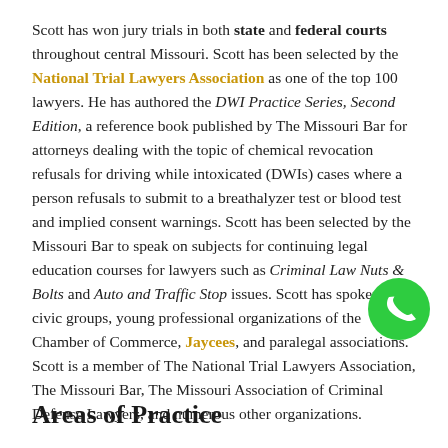Scott has won jury trials in both state and federal courts throughout central Missouri. Scott has been selected by the National Trial Lawyers Association as one of the top 100 lawyers. He has authored the DWI Practice Series, Second Edition, a reference book published by The Missouri Bar for attorneys dealing with the topic of chemical revocation refusals for driving while intoxicated (DWIs) cases where a person refusals to submit to a breathalyzer test or blood test and implied consent warnings. Scott has been selected by the Missouri Bar to speak on subjects for continuing legal education courses for lawyers such as Criminal Law Nuts & Bolts and Auto and Traffic Stop issues. Scott has spoken to civic groups, young professional organizations of the Chamber of Commerce, Jaycees, and paralegal associations. Scott is a member of The National Trial Lawyers Association, The Missouri Bar, The Missouri Association of Criminal Defense Lawyers, and numerous other organizations.
Areas of Practice